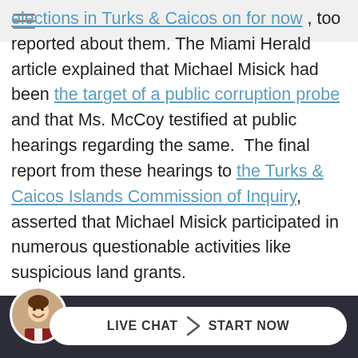elections in Turks & Caicos on for now , too reported about them. The Miami Herald article explained that Michael Misick had been the target of a public corruption probe and that Ms. McCoy testified at public hearings regarding the same. The final report from these hearings to the Turks & Caicos Islands Commission of Inquiry, asserted that Michael Misick participated in numerous questionable activities like suspicious land grants.
One such land grant concerned 18 acres located in the North West Point area of the Turks and Caicos Islands, highlighted on the map below. Recent report
[Figure (screenshot): Live chat widget at the bottom of the page with an avatar of a smiling man and a button reading LIVE CHAT > START NOW on a dark navy bar]